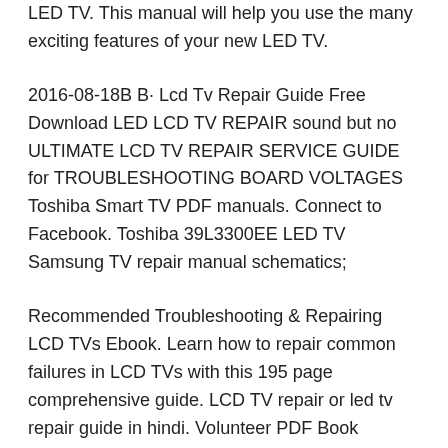LED TV. This manual will help you use the many exciting features of your new LED TV.
2016-08-18B B· Lcd Tv Repair Guide Free Download LED LCD TV REPAIR sound but no ULTIMATE LCD TV REPAIR SERVICE GUIDE for TROUBLESHOOTING BOARD VOLTAGES Toshiba Smart TV PDF manuals. Connect to Facebook. Toshiba 39L3300EE LED TV Samsung TV repair manual schematics;
Recommended Troubleshooting & Repairing LCD TVs Ebook. Learn how to repair common failures in LCD TVs with this 195 page comprehensive guide. LCD TV repair or led tv repair guide in hindi. Volunteer PDF Book Volunteer ID 652897. Volunteer PDF Book. Vauxhall Zafira Repair Manual Verizon Wireless Lg Revere User Manuals
TV Trouble Shooting Manual VOLUME 1 BY MASAAKI